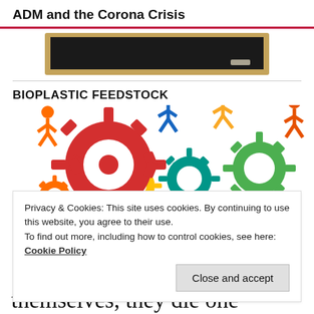ADM and the Corona Crisis
[Figure (photo): Partial view of a chalkboard/blackboard with a wooden frame, dark surface visible at top of content area.]
BIOPLASTIC FEEDSTOCK
[Figure (illustration): Colorful cartoon illustration of running human figures (orange, blue, yellow, orange) interspersed with gears in red, yellow, teal, and green, suggesting teamwork or industry in motion.]
Privacy & Cookies: This site uses cookies. By continuing to use this website, you agree to their use.
To find out more, including how to control cookies, see here: Cookie Policy
“When people don’t express themselves, they die one
Close and accept